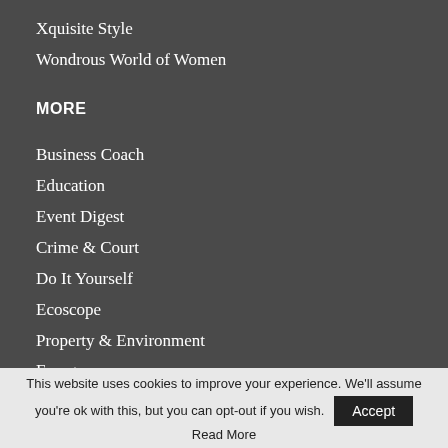Xquisite Style
Wondrous World of Women
MORE
Business Coach
Education
Event Digest
Crime & Court
Do It Yourself
Ecoscope
Property & Environment
Energy
Maritime
This website uses cookies to improve your experience. We'll assume you're ok with this, but you can opt-out if you wish. Accept Read More